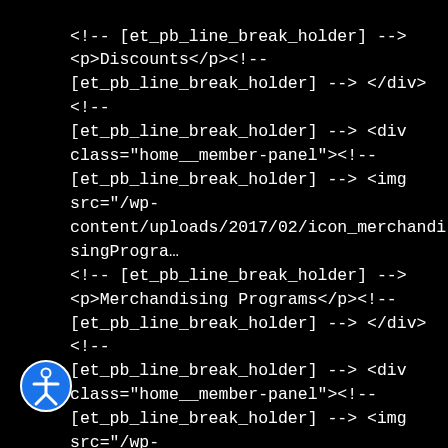<!-- [et_pb_line_break_holder] -->
<p>Discounts</p><!-- [et_pb_line_break_holder] --> </div><!-- [et_pb_line_break_holder] --> <div class="home__member-panel"><!-- [et_pb_line_break_holder] --> <img src="/wp-content/uploads/2017/02/icon_merchandisingProgram <!-- [et_pb_line_break_holder] --> <p>Merchandising Programs</p><!-- [et_pb_line_break_holder] --> </div><!-- [et_pb_line_break_holder] --> <div class="home__member-panel"><!-- [et_pb_line_break_holder] --> <img src="/wp-content/uploads/2017/02/icon_assistance.png"/> <!-- [et_pb_line_break_holder] --> <p>Assistance</p><!--
[Figure (illustration): Accessibility icon - circular blue button with stick figure person symbol]